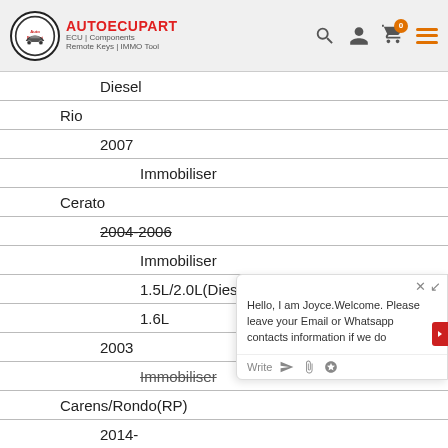AUTOECUPART ECU | Components Remote Keys | IMMO Tool
Diesel
Rio
2007
Immobiliser
Cerato
2004-2006
Immobiliser
1.5L/2.0L(Diesel)
1.6L
2003
Immobiliser
Carens/Rondo(RP)
2014-
Immobiliser
Smart key system
Carens
2007-2008
Immobiliser